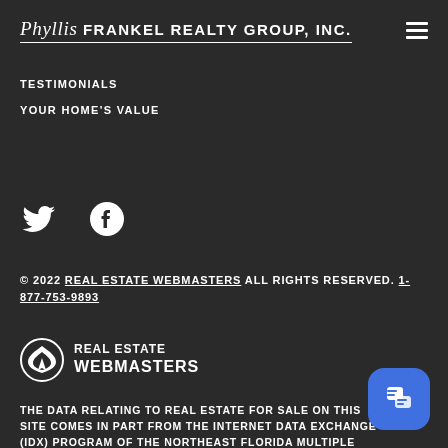Phyllis Frankel Realty Group, Inc.
TESTIMONIALS
YOUR HOME'S VALUE
[Figure (illustration): Twitter bird icon and Facebook circle icon (social media icons)]
© 2022 REAL ESTATE WEBMASTERS ALL RIGHTS RESERVED. 1-877-753-9893
[Figure (logo): Real Estate Webmasters logo with mountain/wave icon and text REAL ESTATE WEBMASTERS]
THE DATA RELATING TO REAL ESTATE FOR SALE ON THIS SITE COMES IN PART FROM THE INTERNET DATA EXCHANGE (IDX) PROGRAM OF THE NORTHEAST FLORIDA MULTIPLE